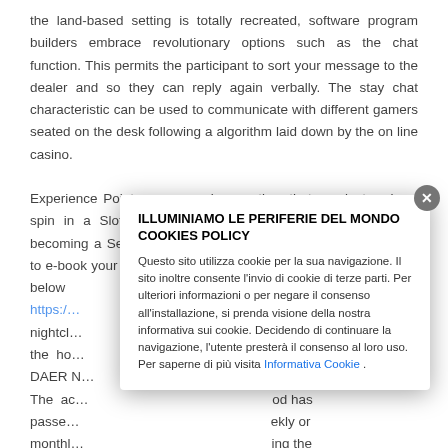the land-based setting is totally recreated, software program builders embrace revolutionary options such as the chat function. This permits the participant to sort your message to the dealer and so they can reply again verbally. The stay chat characteristic can be used to communicate with different gamers seated on the desk following a algorithm laid down by the on line casino.
Experience Points are earned every time that you just make a spin in a Slot or Table Game. If you aren't excited about becoming a Seminole Wild Card member at this time, continue to e-book your hotel room by clicking the button below https://… n the nightcl… expect the ho… about DAER N… The ac… od has passe… ekly or monthl… ing the
[Figure (other): Cookie consent modal dialog overlaying the page content. Title: 'ILLUMINIAMO LE PERIFERIE DEL MONDO COOKIES POLICY'. Body text in Italian describing cookie usage and third-party cookies, with a link to 'Informativa Cookie'. Has a circular grey close button with an X in the top right corner.]